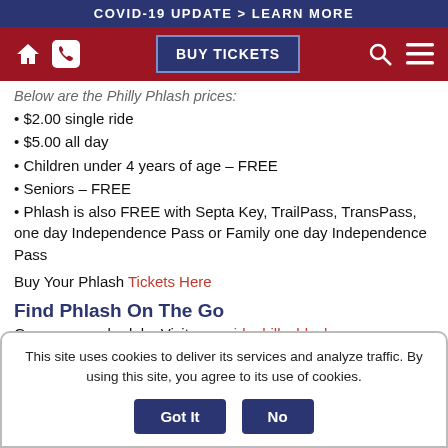COVID-19 UPDATE > LEARN MORE
[Figure (screenshot): Navigation bar with home icon, phone icon, BUY TICKETS button, search icon, and menu icon on red background]
Below are the Philly Phlash prices:
$2.00 single ride
$5.00 all day
Children under 4 years of age – FREE
Seniors – FREE
Phlash is also FREE with Septa Key, TrailPass, TransPass, one day Independence Pass or Family one day Independence Pass
Buy Your Phlash Tickets Here
Find Phlash On The Go
Go on your schedule. Visit www.ridephillyphlash.com
This site uses cookies to deliver its services and analyze traffic. By using this site, you agree to its use of cookies.